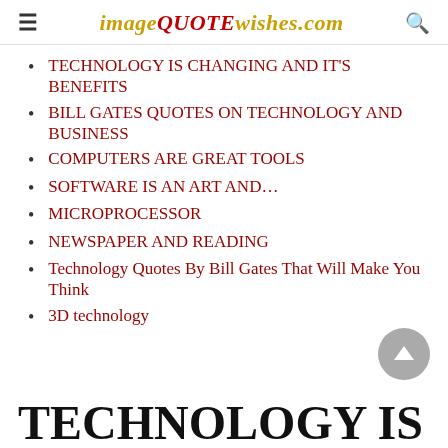imageQUOTEwishes.com
TECHNOLOGY IS CHANGING AND IT'S BENEFITS
BILL GATES QUOTES ON TECHNOLOGY AND BUSINESS
COMPUTERS ARE GREAT TOOLS
SOFTWARE IS AN ART AND…
MICROPROCESSOR
NEWSPAPER AND READING
Technology Quotes By Bill Gates That Will Make You Think
3D technology
TECHNOLOGY IS